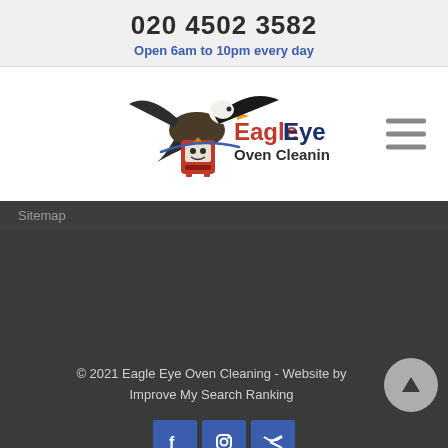020 4502 3582
Open 6am to 10pm every day
[Figure (logo): Eagle Eye Oven Cleaning logo with bald eagle holding a red cartoon oven box]
Sitemap
© 2021 Eagle Eye Oven Cleaning - Website by Improve My Search Ranking